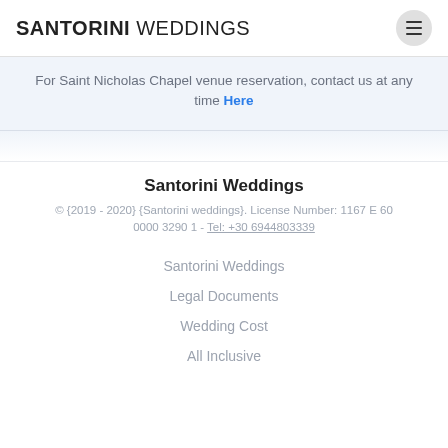SANTORINI WEDDINGS
For Saint Nicholas Chapel venue reservation, contact us at any time Here
Santorini Weddings
© {2019 - 2020} {Santorini weddings}. License Number: 1167 E 60 0000 3290 1 - Tel: +30 6944803339
Santorini Weddings
Legal Documents
Wedding Cost
All Inclusive